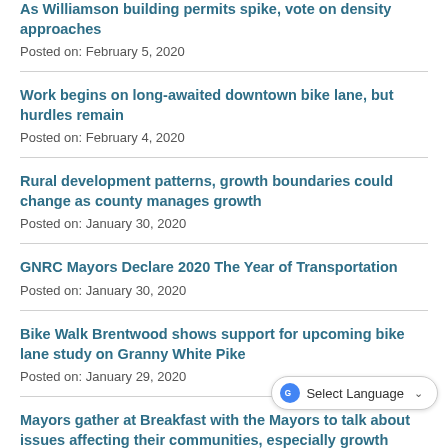As Williamson building permits spike, vote on density approaches
Posted on: February 5, 2020
Work begins on long-awaited downtown bike lane, but hurdles remain
Posted on: February 4, 2020
Rural development patterns, growth boundaries could change as county manages growth
Posted on: January 30, 2020
GNRC Mayors Declare 2020 The Year of Transportation
Posted on: January 30, 2020
Bike Walk Brentwood shows support for upcoming bike lane study on Granny White Pike
Posted on: January 29, 2020
Mayors gather at Breakfast with the Mayors to talk about issues affecting their communities, especially growth
Posted on: January 29, 2020